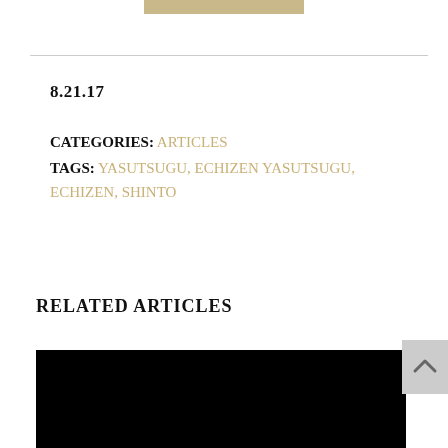[Figure (other): Tan/gold colored horizontal bar at top center of page]
8.21.17
CATEGORIES: ARTICLES
TAGS: YASUTSUGU, ECHIZEN YASUTSUGU, ECHIZEN, SHINTO
RELATED ARTICLES
[Figure (photo): Black image placeholder for a related article thumbnail]